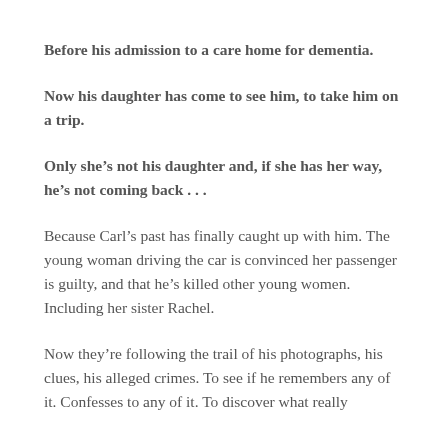Before his admission to a care home for dementia.
Now his daughter has come to see him, to take him on a trip.
Only she’s not his daughter and, if she has her way, he’s not coming back . . .
Because Carl’s past has finally caught up with him. The young woman driving the car is convinced her passenger is guilty, and that he’s killed other young women. Including her sister Rachel.
Now they’re following the trail of his photographs, his clues, his alleged crimes. To see if he remembers any of it. Confesses to any of it. To discover what really